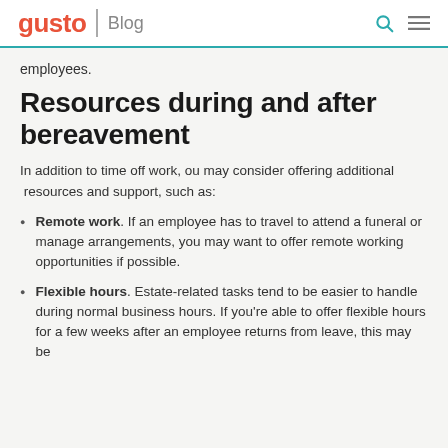gusto | Blog
employees.
Resources during and after bereavement
In addition to time off work, ou may consider offering additional  resources and support, such as:
Remote work. If an employee has to travel to attend a funeral or manage arrangements, you may want to offer remote working opportunities if possible.
Flexible hours. Estate-related tasks tend to be easier to handle during normal business hours. If you're able to offer flexible hours for a few weeks after an employee returns from leave, this may be